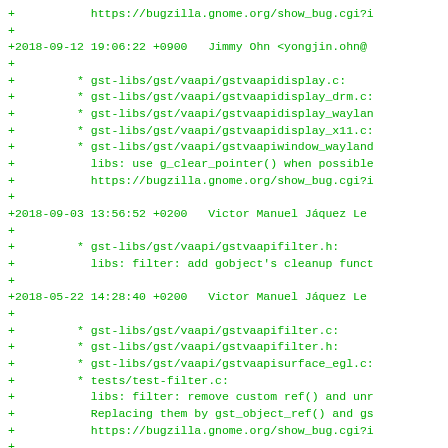+           https://bugzilla.gnome.org/show_bug.cgi?i
+
+2018-09-12 19:06:22 +0900   Jimmy Ohn <yongjin.ohn@
+
+         * gst-libs/gst/vaapi/gstvaapidisplay.c:
+         * gst-libs/gst/vaapi/gstvaapidisplay_drm.c:
+         * gst-libs/gst/vaapi/gstvaapidisplay_waylan
+         * gst-libs/gst/vaapi/gstvaapidisplay_x11.c:
+         * gst-libs/gst/vaapi/gstvaapiwindow_wayland
+           libs: use g_clear_pointer() when possible
+           https://bugzilla.gnome.org/show_bug.cgi?i
+
+2018-09-03 13:56:52 +0200   Victor Manuel Jáquez Le
+
+         * gst-libs/gst/vaapi/gstvaapifilter.h:
+           libs: filter: add gobject's cleanup funct
+
+2018-05-22 14:28:40 +0200   Victor Manuel Jáquez Le
+
+         * gst-libs/gst/vaapi/gstvaapifilter.c:
+         * gst-libs/gst/vaapi/gstvaapifilter.h:
+         * gst-libs/gst/vaapi/gstvaapisurface_egl.c:
+         * tests/test-filter.c:
+           libs: filter: remove custom ref() and unr
+           Replacing them by gst_object_ref() and gs
+           https://bugzilla.gnome.org/show_bug.cgi?i
+
+2018-05-22 14:26:48 +0200   Victor Manuel Jáquez Le
+
+         * gst-libs/gst/vaapi/gstvaapifilter.c: